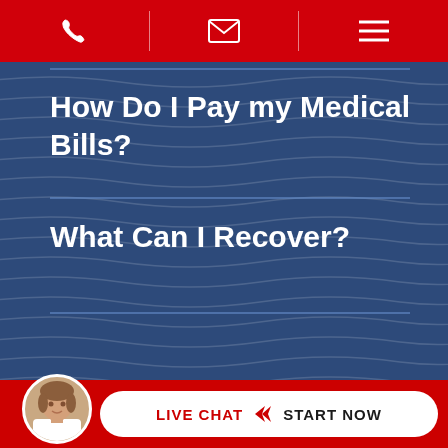[navigation bar with phone, email, and menu icons]
How Do I Pay my Medical Bills?
What Can I Recover?
Our Fees
[Figure (infographic): Live chat widget with avatar photo and pill-shaped button reading LIVE CHAT > START NOW on red background]